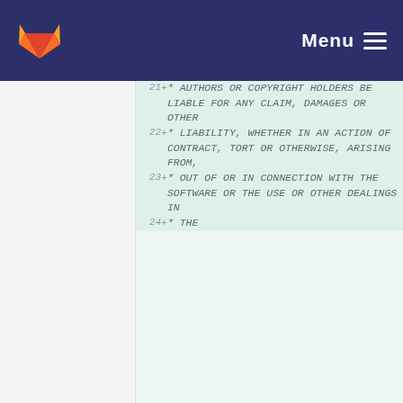Menu
21  +  * AUTHORS OR COPYRIGHT HOLDERS BE LIABLE FOR ANY CLAIM, DAMAGES OR OTHER
22  +  * LIABILITY, WHETHER IN AN ACTION OF CONTRACT, TORT OR OTHERWISE, ARISING FROM,
23  +  * OUT OF OR IN CONNECTION WITH THE SOFTWARE OR THE USE OR OTHER DEALINGS IN
24  +  * THE